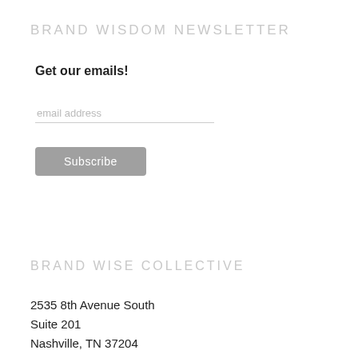BRAND WISDOM NEWSLETTER
Get our emails!
email address
Subscribe
BRAND WISE COLLECTIVE
2535 8th Avenue South
Suite 201
Nashville, TN  37204